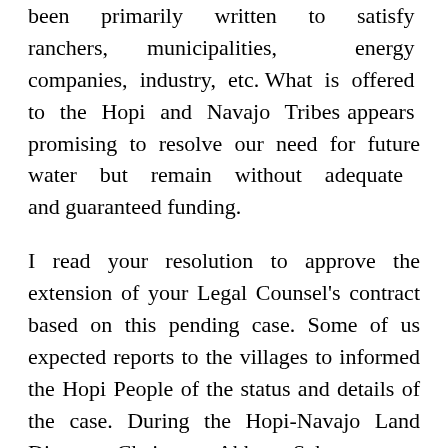been primarily written to satisfy ranchers, municipalities, energy companies, industry, etc. What is offered to the Hopi and Navajo Tribes appears promising to resolve our need for future water but remain without adequate and guaranteed funding.
I read your resolution to approve the extension of your Legal Counsel's contract based on this pending case. Some of us expected reports to the villages to informed the Hopi People of the status and details of the case. During the Hopi-Navajo Land Dispute, Chairman Abbott Sekaquaptewa and I were mandated by the Tribal Council to report to all the villages on a monthly basis. To be expecting the Elected Officials, the